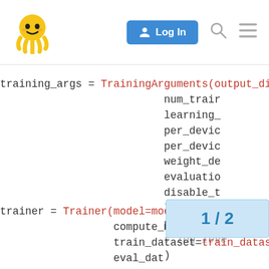Logo | Log In | Search | Menu
training_args = TrainingArguments(output_di...
    num_trai...
    learning_...
    per_devic...
    per_devic...
    weight_de...
    evaluatio...
    disable_t...
    logging_s...
    push_to_h...
    # log_leve...
)
trainer = Trainer(model=model, args=traini...
    compute_metrics=compute_m...
    train_dataset=train_datas...
    eval_dat...
    #eval_da...
    ...